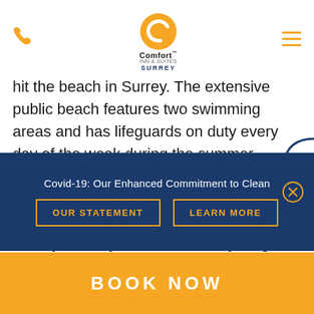[Figure (logo): Comfort Inn & Suites Surrey logo with orange C icon and phone icon and hamburger menu]
hit the beach in Surrey. The expansive public beach features two swimming areas and has lifeguards on duty every day of the week during the summer months. If you're looking for a little more adventure beyond swimming, the Crescent Beach Paddle Shack is located nearby. Here, you can rent everything from stand up paddle boards to kayaks or even sign up for a guided tour. Lastly, we recommend staying at Crescent Beach until the end of the day as it…
Covid-19: Our Enhanced Commitment to Clean
OUR STATEMENT
LEARN MORE
BOOK NOW